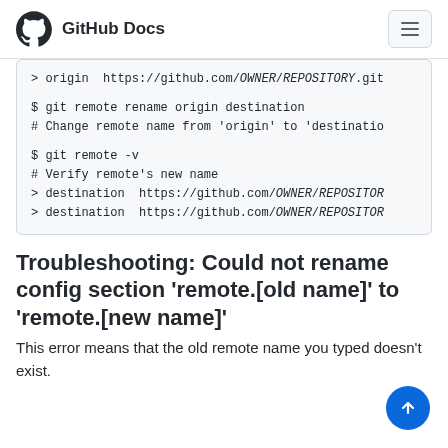GitHub Docs
> origin  https://github.com/OWNER/REPOSITORY.git

$ git remote rename origin destination
# Change remote name from 'origin' to 'destinatio

$ git remote -v
# Verify remote's new name
> destination  https://github.com/OWNER/REPOSITOR
> destination  https://github.com/OWNER/REPOSITOR
Troubleshooting: Could not rename config section 'remote.[old name]' to 'remote.[new name]'
This error means that the old remote name you typed doesn't exist.